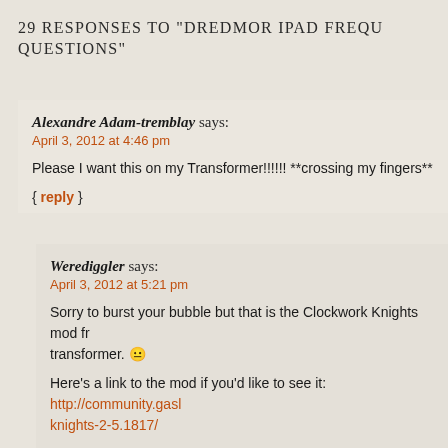29 RESPONSES TO "DREDMOR IPAD FREQUENTLY ASKED QUESTIONS"
Alexandre Adam-tremblay says:
April 3, 2012 at 4:46 pm

Please I want this on my Transformer!!!!!! **crossing my fingers**

{ reply }
Werediggler says:
April 3, 2012 at 5:21 pm

Sorry to burst your bubble but that is the Clockwork Knights mod from the transformer. 😐

Here's a link to the mod if you'd like to see it: http://community.gaslampgames.com/threads/clockwork-knights-2-5.1817/

{ reply }
Doc says:
April 3, 2012 at 5:34 pm

I think the "transformer" remark is referring to the Asus Eee Pad T...